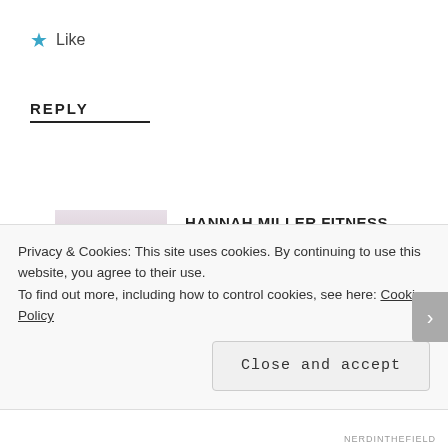★ Like
REPLY
HANNAH MILLER FITNESS
January 5, 2017 at 10:36 am
[Figure (photo): Profile photo of a woman in striped top and purple shorts]
Very true, like the saying, “you get what you pay for.” However, I agree with you and think that this company is
Privacy & Cookies: This site uses cookies. By continuing to use this website, you agree to their use.
To find out more, including how to control cookies, see here: Cookie Policy
Close and accept
NERDINTHEFIELD